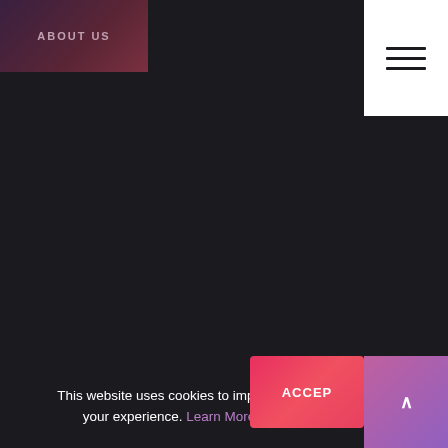ABOUT US
[Figure (screenshot): Hamburger menu icon (three horizontal lines) on white background in top-right corner]
This website uses cookies to improve your experience. Learn More
ACCEPT
[Figure (other): Scroll-to-top button with upward caret arrow, purple-pink gradient background]